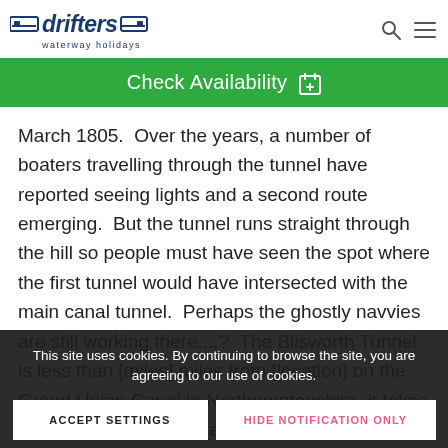drifters waterway holidays
Check Availability
March 1805.  Over the years, a number of boaters travelling through the tunnel have reported seeing lights and a second route emerging.  But the tunnel runs straight through the hill so people must have seen the spot where the first tunnel would have intersected with the main canal tunnel.  Perhaps the ghostly navvies are still working there....?  The Blisworth Tunnel is less than [miles] miles from [location] on the Grand Union Canal in Northamptonshire, it takes around eight hours to reach the Blisworth Tunnel.  The route travels 18 miles and passes through 13 locks.
This site uses cookies. By continuing to browse the site, you are agreeing to our use of cookies.
ACCEPT SETTINGS
HIDE NOTIFICATION ONLY
SETTINGS